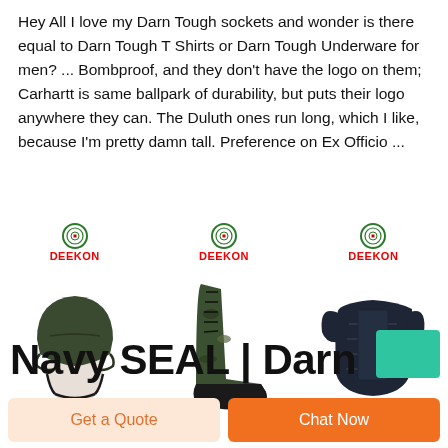Hey All I love my Darn Tough sockets and wonder is there equal to Darn Tough T Shirts or Darn Tough Underware for men? ... Bombproof, and they don't have the logo on them; Carhartt is same ballpark of durability, but puts their logo anywhere they can. The Duluth ones run long, which I like, because I'm pretty damn tall. Preference on Ex Officio ...
[Figure (photo): Three product images from Deekon brand: a tactical helmet on a mannequin head, a camouflage military boot, and a body armor/tactical vest, each with the Deekon logo above.]
Navy SEAL | Darn
Get a Quote
Chat Now